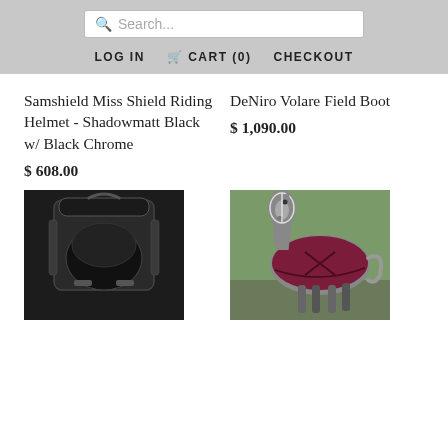Search... LOG IN CART (0) CHECKOUT
Samshield Miss Shield Riding Helmet - Shadowmatt Black w/ Black Chrome
$ 608.00
DeNiro Volare Field Boot
$ 1,090.00
[Figure (photo): Black saddle/helmet bag product photo on dark background]
[Figure (photo): Grey horse wearing a burgundy/maroon blanket/rug, standing outdoors]